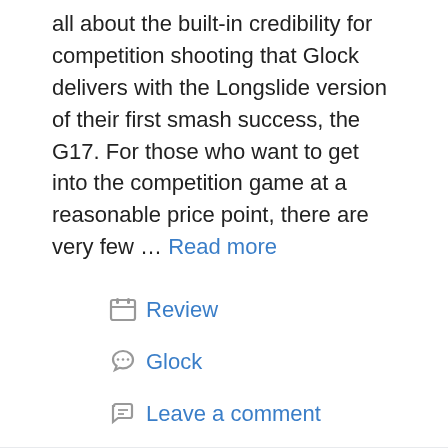all about the built-in credibility for competition shooting that Glock delivers with the Longslide version of their first smash success, the G17. For those who want to get into the competition game at a reasonable price point, there are very few … Read more
Review
Glock
Leave a comment
Glock 26 Gen 5 Review: New